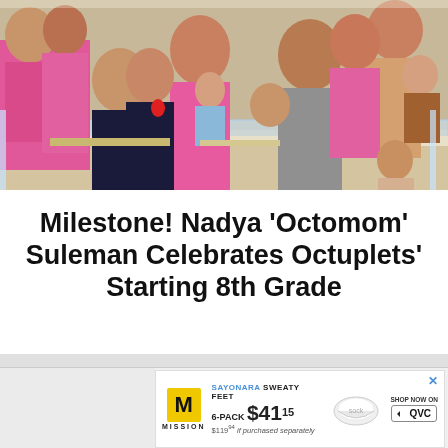[Figure (photo): Group photo of Nadya 'Octomom' Suleman and her children including octuplets, many wearing matching pink t-shirts, gathered around what appears to be a cafeteria or buffet counter. Children of various ages are visible along with adults.]
Milestone! Nadya ‘Octomom’ Suleman Celebrates Octuplets' Starting 8th Grade
[Figure (other): Advertisement for Mission brand socks on QVC: 'SAYONARA SWEATY FEET 6-PACK $41.15 $119.94 if purchased separately' with sock image and QVC logo.]